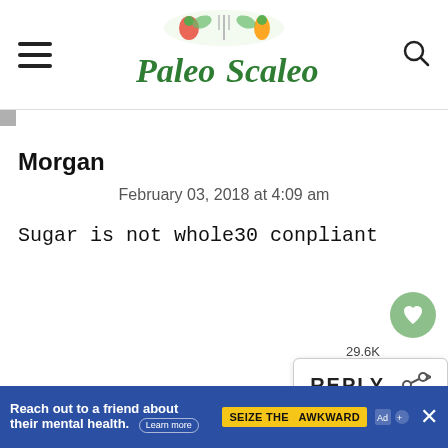Paleo Scaleo
Morgan
February 03, 2018 at 4:09 am
Sugar is not whole30 conpliant
29.6K
REPLY
WHAT'S NEXT → The Only Whole30...
Reach out to a friend about their mental health. Learn more SEIZE THE AWKWARD